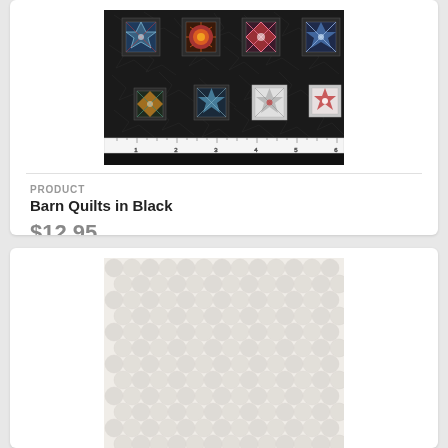[Figure (photo): Barn quilts fabric swatch on black crackle background with colorful quilt block medallions and a ruler at the bottom showing 6 inches]
PRODUCT
Barn Quilts in Black
$12.95
[Figure (photo): Off-white cream fabric with a repeating penny/circle dot texture pattern]